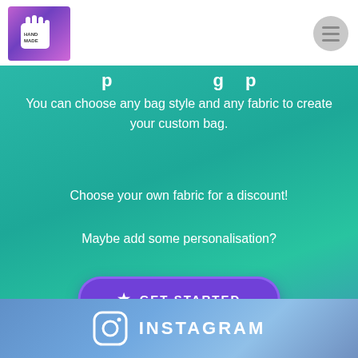[Figure (logo): Hand-shaped logo with 'Handmade' text on purple/pink gradient background]
You can choose any bag style and any fabric to create your custom bag.
Choose your own fabric for a discount!
Maybe add some personalisation?
★ GET STARTED
[Figure (logo): Instagram icon with INSTAGRAM label on blue gradient background]